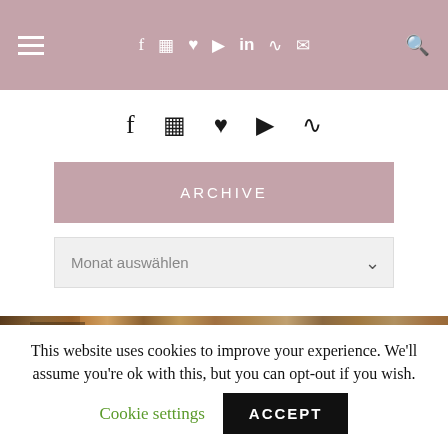Navigation bar with hamburger menu, social icons, and search
[Figure (screenshot): Secondary social media icon row: Facebook, Instagram, Heart/Bloglovin, YouTube, RSS]
ARCHIVE
Monat auswählen (dropdown select)
[Figure (photo): Stone wall with wooden door detail, warm brown tones]
This website uses cookies to improve your experience. We'll assume you're ok with this, but you can opt-out if you wish.
Cookie settings   ACCEPT